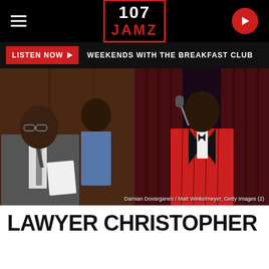107 JAMZ
LISTEN NOW ▶  WEEKENDS WITH THE BREAKFAST CLUB
[Figure (photo): Left: Two men in a courtroom, one in a suit holding papers, one in a blue shirt. Right: A performer in a red pinstripe suit singing into a microphone on stage. Photo credit: Damian Dovarganes / Matt Winkelmeyer, Getty Images (2)]
Damian Dovarganes / Matt Winkelmeyer, Getty Images (2)
LAWYER CHRISTOPHER